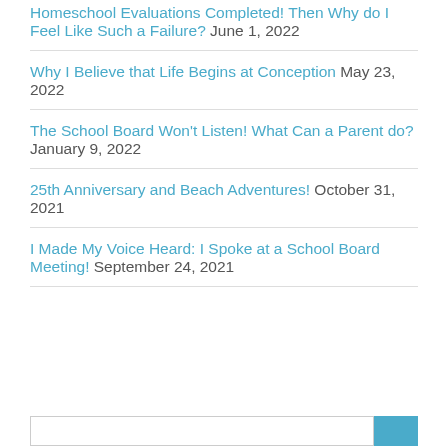Homeschool Evaluations Completed! Then Why do I Feel Like Such a Failure? June 1, 2022
Why I Believe that Life Begins at Conception May 23, 2022
The School Board Won't Listen! What Can a Parent do? January 9, 2022
25th Anniversary and Beach Adventures! October 31, 2021
I Made My Voice Heard: I Spoke at a School Board Meeting! September 24, 2021